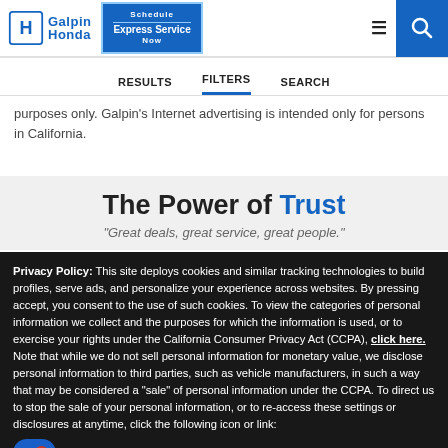Galpin Honda — Schedule Express Service Now | RESULTS | FILTERS | SEARCH
purposes only. Galpin's Internet advertising is intended only for persons in California.
The Power of Trust
"Great deals, great service, great people."
Privacy Policy: This site deploys cookies and similar tracking technologies to build profiles, serve ads, and personalize your experience across websites. By pressing accept, you consent to the use of such cookies. To view the categories of personal information we collect and the purposes for which the information is used, or to exercise your rights under the California Consumer Privacy Act (CCPA), click here. Note that while we do not sell personal information for monetary value, we disclose personal information to third parties, such as vehicle manufacturers, in such a way that may be considered a "sale" of personal information under the CCPA. To direct us to stop the sale of your personal information, or to re-access these settings or disclosures at anytime, click the following icon or link:
Do Not Sell My Personal Information
Language: English — Powered by ComplyAuto
Accept and Continue → | California Privacy Disclosures